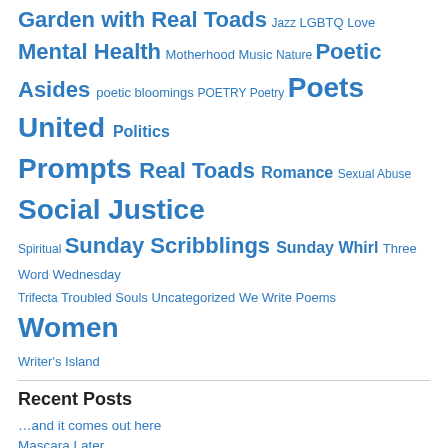Garden with Real Toads Jazz LGBTQ Love Mental Health Motherhood Music Nature Poetic Asides poetic bloomings POETRY Poetry Poets United Politics Prompts Real Toads Romance Sexual Abuse Social Justice Spiritual Sunday Scribblings Sunday Whirl Three Word Wednesday Trifecta Troubled Souls Uncategorized We Write Poems Women Writer's Island
Recent Posts
…and it comes out here
Mascara Later
Ron Johnson and the cult of whatever the hell he is part of
Bez, the final frontier
Subway, Summer 1988